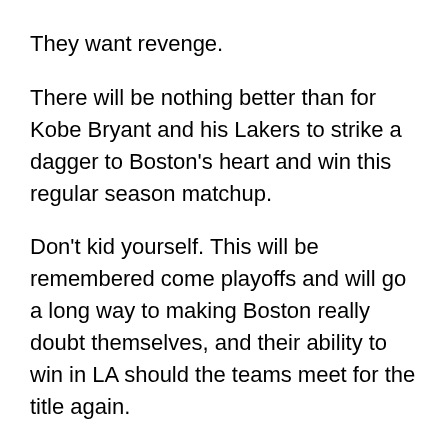They want revenge.
There will be nothing better than for Kobe Bryant and his Lakers to strike a dagger to Boston’s heart and win this regular season matchup.
Don’t kid yourself. This will be remembered come playoffs and will go a long way to making Boston really doubt themselves, and their ability to win in LA should the teams meet for the title again.
Want to gain an insider's look into Kobe Bryant’s life and learn the details of his legendary intensity and work ethic? Check out the new book, The Kobe Code: Eight Principles For Success- An Insider's Look into Kobe Bryant's Warrior Life & the Code He Lives By, at www.PatMixon.com.
You’ll also discover why Kobe has been so misunderstood